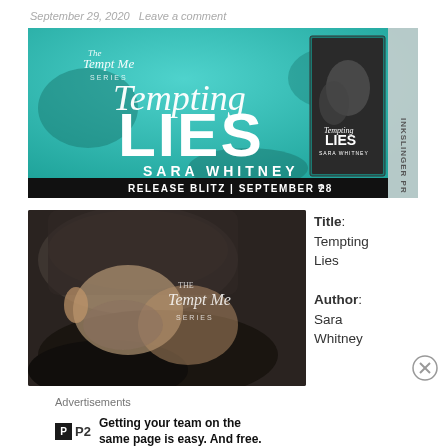September 29, 2020   Leave a comment
[Figure (photo): Release blitz banner for 'Tempting Lies' by Sara Whitney. Teal watercolor background with large white script 'Tempting' and bold 'LIES' text. Book cover shown on right side. Bottom bar reads 'RELEASE BLITZ | SEPTEMBER 28th'. INK SLINGER PR branding on right edge.]
[Figure (photo): Close-up romantic photo of a man and woman with heads close together, eyes closed. 'The Tempt Me Series' cursive text overlay.]
Title: Tempting Lies
Author: Sara Whitney
Advertisements
Getting your team on the same page is easy. And free.